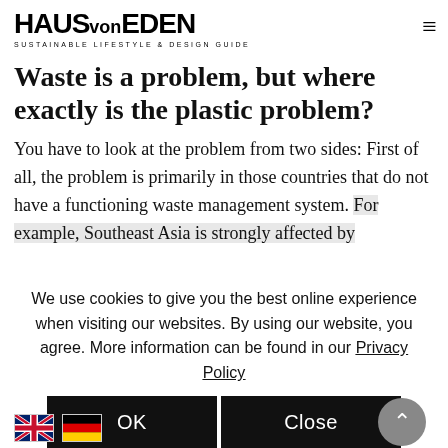HAUS von EDEN — SUSTAINABLE LIFESTYLE & DESIGN GUIDE
Waste is a problem, but where exactly is the plastic problem?
You have to look at the problem from two sides: First of all, the problem is primarily in those countries that do not have a functioning waste management system. For example, Southeast Asia is strongly affected by
We use cookies to give you the best online experience when visiting our websites. By using our website, you agree. More information can be found in our Privacy Policy
OK   Close